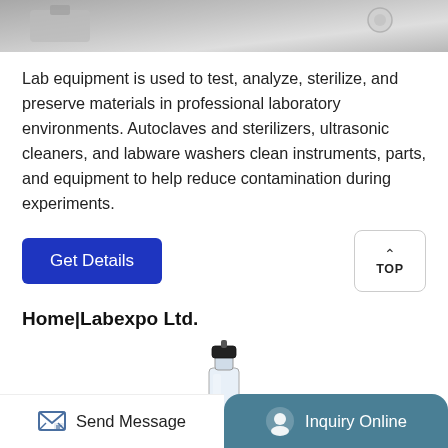[Figure (photo): Partial top image of laboratory equipment, grayscale/silver tones]
Lab equipment is used to test, analyze, sterilize, and preserve materials in professional laboratory environments. Autoclaves and sterilizers, ultrasonic cleaners, and labware washers clean instruments, parts, and equipment to help reduce contamination during experiments.
[Figure (other): Get Details button (blue) and TOP navigation button]
Home|Labexpo Ltd.
[Figure (photo): Product image: a glass bottle with black cap and dispensing tip]
Send Message  |  Inquiry Online